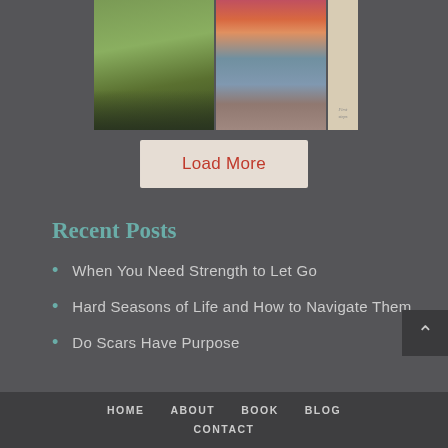[Figure (photo): Photo collage showing three images: a park/field with a tree on the left, a coastal/rocky shoreline with sunset sky in the middle, and a partial book/card cover on the right with cursive text.]
Load More
Recent Posts
When You Need Strength to Let Go
Hard Seasons of Life and How to Navigate Them
Do Scars Have Purpose
HOME   ABOUT   BOOK   BLOG   CONTACT